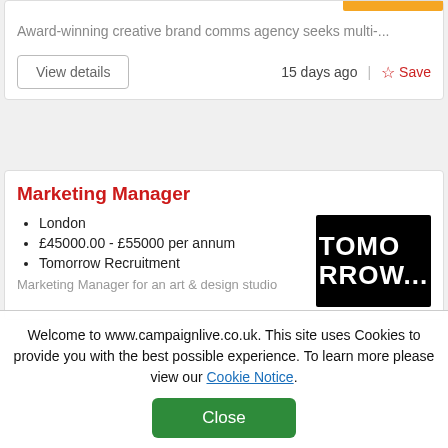Award-winning creative brand comms agency seeks multi-...
15 days ago
Save
Marketing Manager
London
£45000.00 - £55000 per annum
Tomorrow Recruitment
[Figure (logo): Tomorrow Recruitment logo — black background with white bold text reading TOMO RROW...]
Marketing Manager for an art & design studio
Welcome to www.campaignlive.co.uk. This site uses Cookies to provide you with the best possible experience. To learn more please view our Cookie Notice.
Close